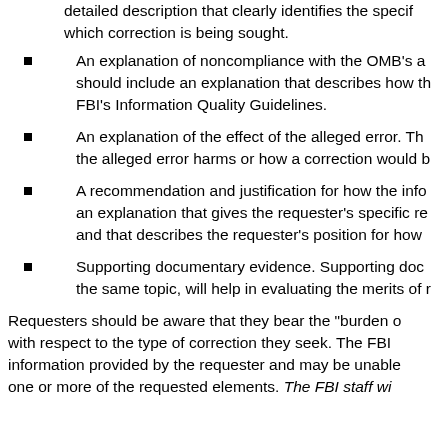detailed description that clearly identifies the specific information for which correction is being sought.
An explanation of noncompliance with the OMB's and the FBI's Information Quality Guidelines. This should include an explanation that describes how the information fails to meet the FBI's Information Quality Guidelines.
An explanation of the effect of the alleged error. This should include why the alleged error harms or how a correction would benefit the requester.
A recommendation and justification for how the information should be corrected; an explanation that gives the requester's specific recommended correction and that describes the requester's position for how the information should read.
Supporting documentary evidence. Supporting documentation, such as studies on the same topic, will help in evaluating the merits of requests.
Requesters should be aware that they bear the "burden of proof" with respect to the type of correction they seek. The FBI will rely on the information provided by the requester and may be unable to respond to one or more of the requested elements. The FBI staff wi